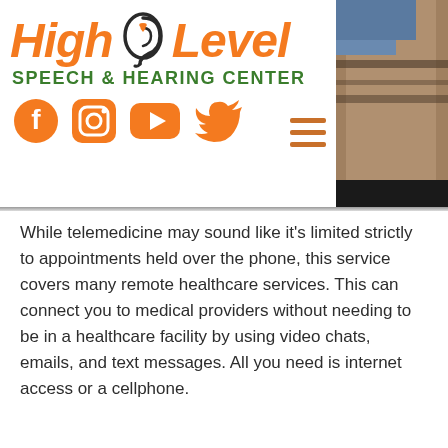[Figure (logo): High Level Speech & Hearing Center logo with ear icon, social media icons (Facebook, Instagram, YouTube, Twitter) in orange, and green subtitle text]
[Figure (photo): Partial photo of a person on the right side of the header, showing arm and background with dark/light pattern]
While telemedicine may sound like it's limited strictly to appointments held over the phone, this service covers many remote healthcare services. This can connect you to medical providers without needing to be in a healthcare facility by using video chats, emails, and text messages. All you need is internet access or a cellphone.